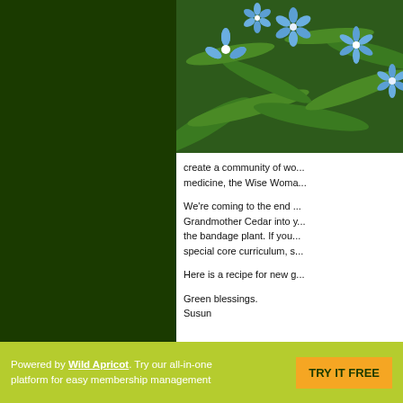[Figure (photo): Blue star-shaped flowers with green leaves background]
create a community of wo... medicine, the Wise Woma...
We're coming to the end ... Grandmother Cedar into y... the bandage plant. If you... special core curriculum, s...
Here is a recipe for new g...
Green blessings.
Susun
Powered by Wild Apricot. Try our all-in-one platform for easy membership management  TRY IT FREE